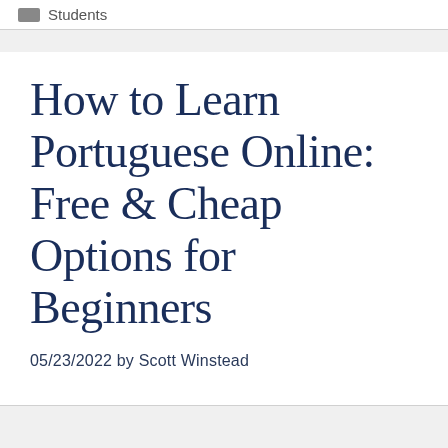Students
How to Learn Portuguese Online: Free & Cheap Options for Beginners
05/23/2022 by Scott Winstead